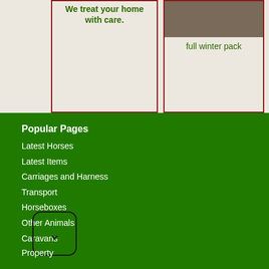We treat your home with care.
full winter pack
Popular Pages
Latest Horses
Latest Items
Carriages and Harness
Transport
Horseboxes
Other Animals
Caravans
Property